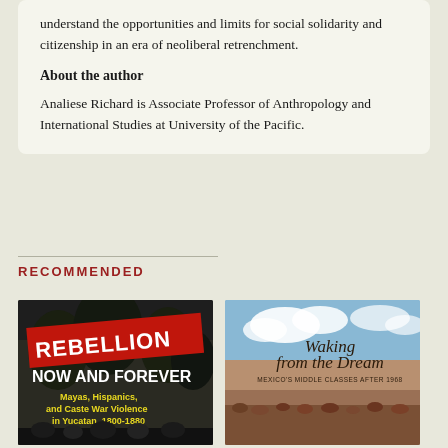understand the opportunities and limits for social solidarity and citizenship in an era of neoliberal retrenchment.
About the author
Analiese Richard is Associate Professor of Anthropology and International Studies at University of the Pacific.
RECOMMENDED
[Figure (photo): Book cover of 'Rebellion Now and Forever: Mayas, Hispanics, and Caste War Violence in Yucatan, 1800-1880']
[Figure (photo): Book cover of 'Waking from the Dream: Mexico's Middle Classes After 1968']